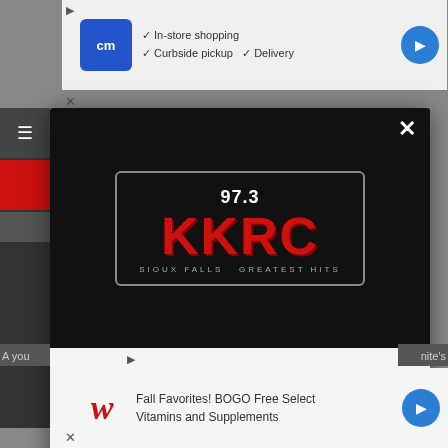[Figure (screenshot): Top advertisement banner with CM logo, checkmarks for In-store shopping, Curbside pickup, Delivery, and blue arrow button]
[Figure (logo): 97.3 KKRC Sioux Falls Greatest Hits radio station logo in red and white on black background]
DOWNLOAD THE KKRC-FM / 97.3 KKRC MOBILE APP
GET OUR FREE MOBILE APP
Also listen on:  amazon alexa
[Figure (screenshot): Bottom Walgreens advertisement: Fall Favorites! BOGO Free Select Vitamins and Supplements]